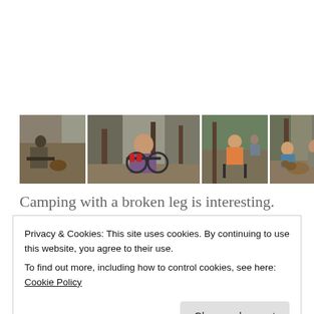[Figure (photo): A horizontal strip of four outdoor camping photos showing people with camp chairs, a bicycle, a child, and people with dogs in a wooded campsite setting.]
Camping with a broken leg is interesting.  Not much you can do but sit around, coast to the lake and let...
Privacy & Cookies: This site uses cookies. By continuing to use this website, you agree to their use.
To find out more, including how to control cookies, see here: Cookie Policy
Close and accept